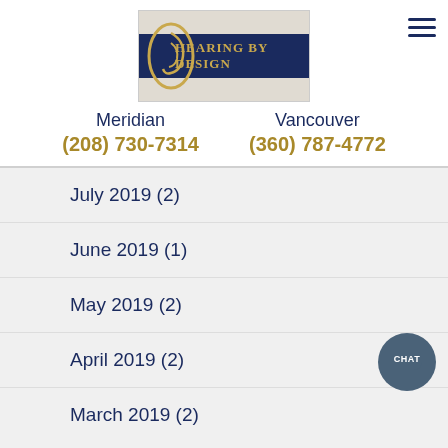[Figure (logo): Hearing By Design logo with ear icon and dark navy banner with gold text]
Meridian
(208) 730-7314
Vancouver
(360) 787-4772
July 2019 (2)
June 2019 (1)
May 2019 (2)
April 2019 (2)
March 2019 (2)